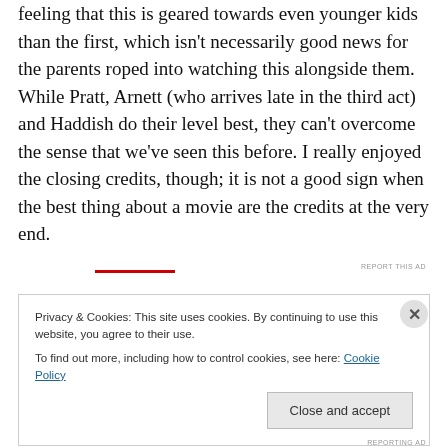feeling that this is geared towards even younger kids than the first, which isn't necessarily good news for the parents roped into watching this alongside them. While Pratt, Arnett (who arrives late in the third act) and Haddish do their level best, they can't overcome the sense that we've seen this before. I really enjoyed the closing credits, though; it is not a good sign when the best thing about a movie are the credits at the very end.
Privacy & Cookies: This site uses cookies. By continuing to use this website, you agree to their use.
To find out more, including how to control cookies, see here: Cookie Policy